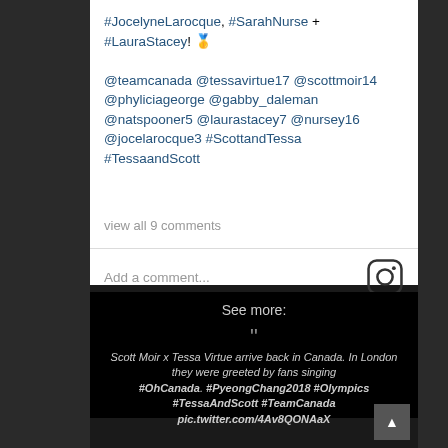#JocelyneLarocque, #SarahNurse + #LauraStacey! 🥇 @teamcanada @tessavirtue17 @scottmoir14 @phyliciageorge @gabby_daleman @natspooner5 @laurastacey7 @nursey16 @jocelarocque3 #ScottandTessa #TessaandScott
view all 9 comments
Add a comment...
See more:
Scott Moir x Tessa Virtue arrive back in Canada. In London they were greeted by fans singing #OhCanada. #PyeongChang2018 #Olympics #TessaAndScott #TeamCanada pic.twitter.com/4Av8QONAaX